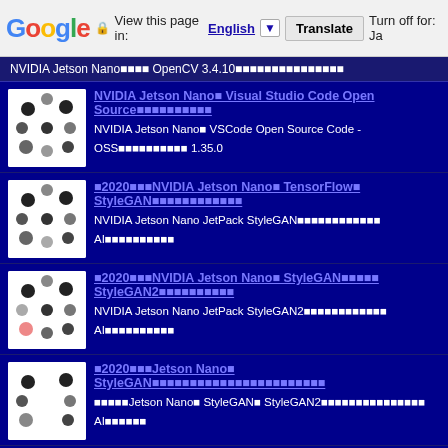Google | View this page in: English [▼] | Translate | Turn off for: Ja
NVIDIA Jetson Nano■■■■ OpenCV 3.4.10■■■■■■■■■■■■■■
NVIDIA Jetson Nano■ Visual Studio Code Open Source■■■■■■■■■■ — NVIDIA Jetson Nano■ VSCode Open Source Code - OSS■■■■■■■■■■ 1.35.0
■2020■■■NVIDIA Jetson Nano■ TensorFlow■ StyleGAN■■■■■■■■■■■■ — NVIDIA Jetson Nano JetPack StyleGAN■■■■■■■■■■■■ AI■■■■■■■■■■
■2020■■■NVIDIA Jetson Nano■ StyleGAN■■■■■ StyleGAN2■■■■■■■■■■ — NVIDIA Jetson Nano JetPack StyleGAN2■■■■■■■■■■■■ AI■■■■■■■■■■
■2020■■■Jetson Nano■ StyleGAN■■■■■■■■■■■■■■■■■■■■■■■■■■■ — ■■■■■Jetson Nano■ StyleGAN■ StyleGAN2■■■■■■■■■■■■■■■■■■ AI■■■■■■■
■■■■8GB■Raspberry Pi 4 Model B 8GB■ KSY■■■■■■■■■■■■■■■ — ■■■■■■■■■■■■ 8GB■■■■■■■■■■ Pi3■Pi3B■■■■■■
■Vulkan■Raspberry Pi 4 Model B■ Vulkan■■■■■■■■■■ 3D■■■■■■■■■■■■ — ■v3d■■■■■■ Vulkan API■■■■■VK_ICD_FILENAMES...